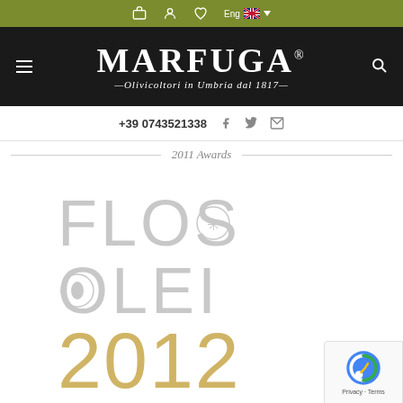Top navigation bar with cart, user, wishlist icons and Eng language selector
[Figure (logo): MARFUGA logo with tagline 'Olivicoltori in Umbria dal 1817' on black background]
+39 0743521338 [Facebook icon] [Twitter icon] [Email icon]
2011 Awards
[Figure (logo): FLOS OLEI award logo in light gray with large decorative letters and a number starting with 2012 at the bottom in golden/tan color]